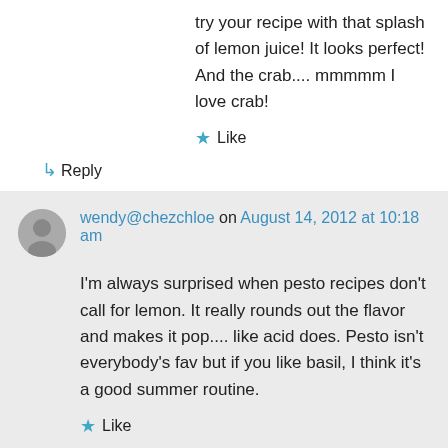try your recipe with that splash of lemon juice! It looks perfect! And the crab.... mmmmm I love crab!
★ Like
↳ Reply
wendy@chezchloe on August 14, 2012 at 10:18 am
I'm always surprised when pesto recipes don't call for lemon. It really rounds out the flavor and makes it pop.... like acid does. Pesto isn't everybody's fav but if you like basil, I think it's a good summer routine.
★ Like